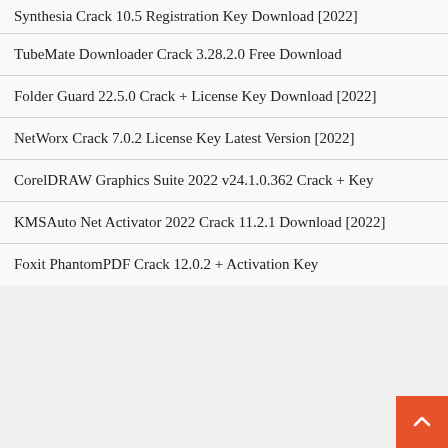Synthesia Crack 10.5 Registration Key Download [2022]
TubeMate Downloader Crack 3.28.2.0 Free Download
Folder Guard 22.5.0 Crack + License Key Download [2022]
NetWorx Crack 7.0.2 License Key Latest Version [2022]
CorelDRAW Graphics Suite 2022 v24.1.0.362 Crack + Key
KMSAuto Net Activator 2022 Crack 11.2.1 Download [2022]
Foxit PhantomPDF Crack 12.0.2 + Activation Key